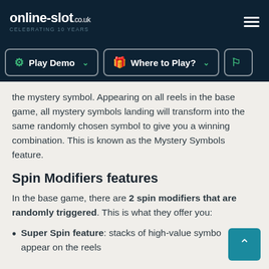online-slot.co.uk — CELEBRATING 10 YEARS
the mystery symbol. Appearing on all reels in the base game, all mystery symbols landing will transform into the same randomly chosen symbol to give you a winning combination. This is known as the Mystery Symbols feature.
Spin Modifiers features
In the base game, there are 2 spin modifiers that are randomly triggered. This is what they offer you:
Super Spin feature: stacks of high-value symbols appear on the reels